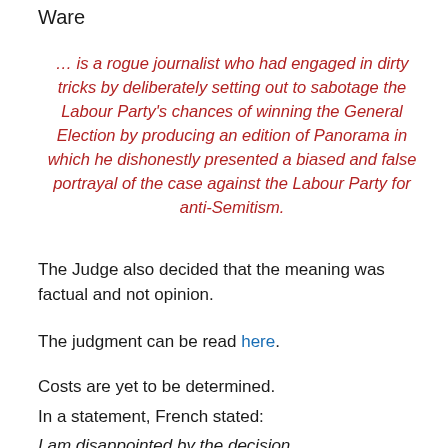Ware
… is a rogue journalist who had engaged in dirty tricks by deliberately setting out to sabotage the Labour Party's chances of winning the General Election by producing an edition of Panorama in which he dishonestly presented a biased and false portrayal of the case against the Labour Party for anti-Semitism.
The Judge also decided that the meaning was factual and not opinion.
The judgment can be read here.
Costs are yet to be determined.
In a statement, French stated:
I am disappointed by the decision.